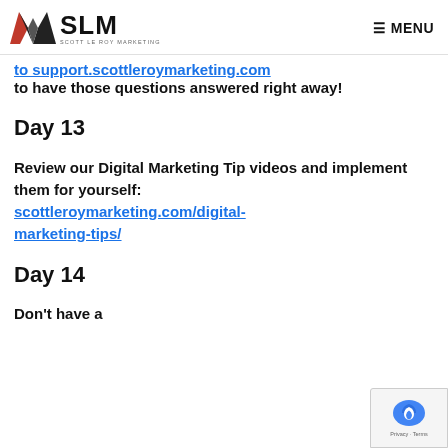SLM Scott Le Roy Marketing | MENU
to have those questions answered right away!
Day 13
Review our Digital Marketing Tip videos and implement them for yourself: scottleroymarketing.com/digital-marketing-tips/
Day 14
(cut off at bottom)